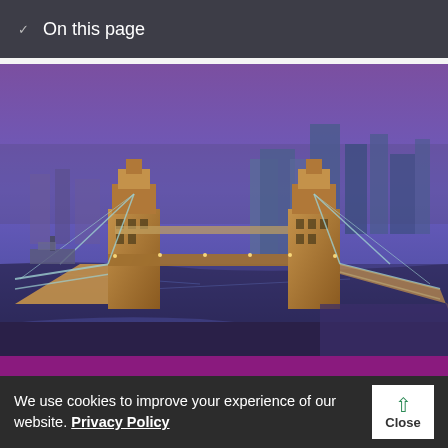On this page
[Figure (photo): Aerial photograph of Tower Bridge and the London skyline at dusk/night with purple and blue tones, the River Thames visible below the illuminated bridge, modern skyscrapers including the Walkie-Talkie and Gherkin buildings in the background]
We use cookies to improve your experience of our website. Privacy Policy